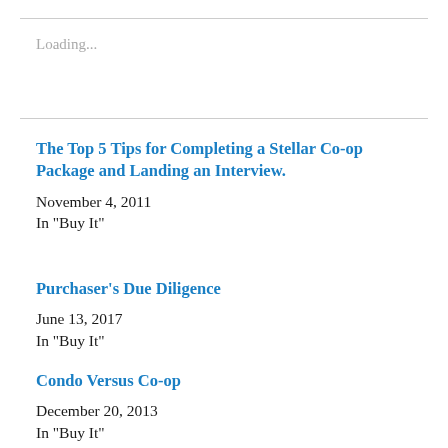Loading...
The Top 5 Tips for Completing a Stellar Co-op Package and Landing an Interview.
November 4, 2011
In "Buy It"
Purchaser's Due Diligence
June 13, 2017
In "Buy It"
Condo Versus Co-op
December 20, 2013
In "Buy It"